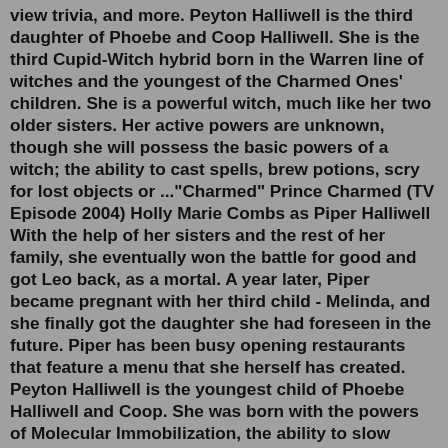view trivia, and more. Peyton Halliwell is the third daughter of Phoebe and Coop Halliwell. She is the third Cupid-Witch hybrid born in the Warren line of witches and the youngest of the Charmed Ones' children. She is a powerful witch, much like her two older sisters. Her active powers are unknown, though she will possess the basic powers of a witch; the ability to cast spells, brew potions, scry for lost objects or ..."Charmed" Prince Charmed (TV Episode 2004) Holly Marie Combs as Piper Halliwell With the help of her sisters and the rest of her family, she eventually won the battle for good and got Leo back, as a mortal. A year later, Piper became pregnant with her third child - Melinda, and she finally got the daughter she had foreseen in the future. Piper has been busy opening restaurants that feature a menu that she herself has created. Peyton Halliwell is the youngest child of Phoebe Halliwell and Coop. She was born with the powers of Molecular Immobilization, the ability to slow down the molecules of a person or object until they become